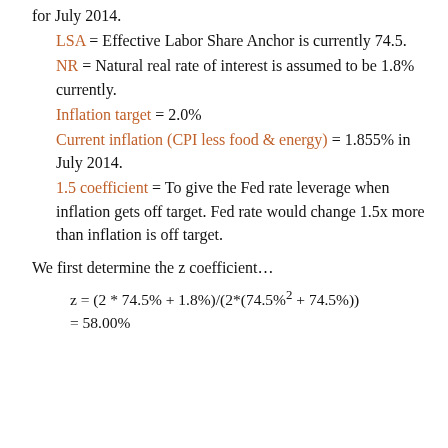for July 2014.
LSA = Effective Labor Share Anchor is currently 74.5.
NR = Natural real rate of interest is assumed to be 1.8% currently.
Inflation target = 2.0%
Current inflation (CPI less food & energy) = 1.855% in July 2014.
1.5 coefficient = To give the Fed rate leverage when inflation gets off target. Fed rate would change 1.5x more than inflation is off target.
We first determine the z coefficient…